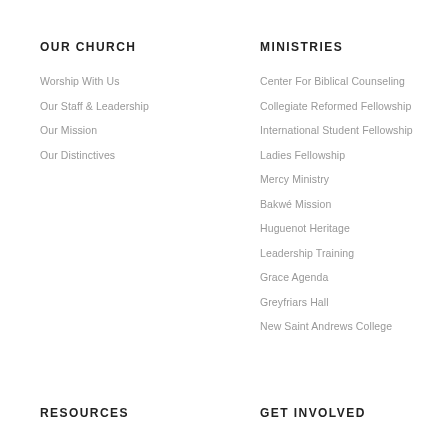OUR CHURCH
Worship With Us
Our Staff & Leadership
Our Mission
Our Distinctives
MINISTRIES
Center For Biblical Counseling
Collegiate Reformed Fellowship
International Student Fellowship
Ladies Fellowship
Mercy Ministry
Bakwé Mission
Huguenot Heritage
Leadership Training
Grace Agenda
Greyfriars Hall
New Saint Andrews College
RESOURCES
GET INVOLVED